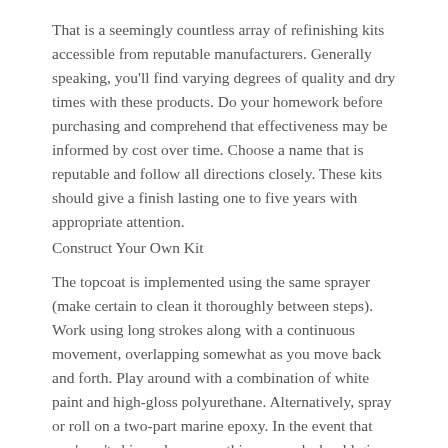That is a seemingly countless array of refinishing kits accessible from reputable manufacturers. Generally speaking, you'll find varying degrees of quality and dry times with these products. Do your homework before purchasing and comprehend that effectiveness may be informed by cost over time. Choose a name that is reputable and follow all directions closely. These kits should give a finish lasting one to five years with appropriate attention.
Construct Your Own Kit
The topcoat is implemented using the same sprayer (make certain to clean it thoroughly between steps). Work using long strokes along with a continuous movement, overlapping somewhat as you move back and forth. Play around with a combination of white paint and high-gloss polyurethane. Alternatively, spray or roll on a two-part marine epoxy. In the event that you’ven’t skimped on prep, this approach should give a finish that can last between 3 and 10 years.
Implementing Finishes: Professional Approach
Professional refinishers are numerous, but be warned: the products used to bring around, by their in various